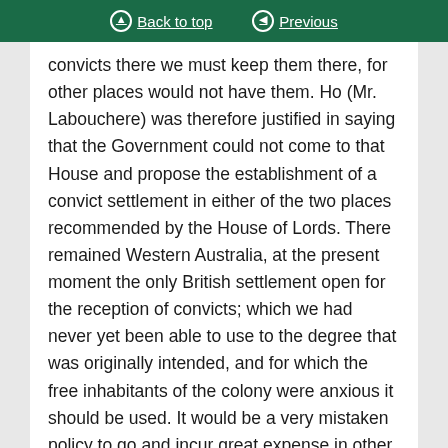Back to top | Previous
convicts there we must keep them there, for other places would not have them. Ho (Mr. Labouchere) was therefore justified in saying that the Government could not come to that House and propose the establishment of a convict settlement in either of the two places recommended by the House of Lords. There remained Western Australia, at the present moment the only British settlement open for the reception of convicts; which we had never yet been able to use to the degree that was originally intended, and for which the free inhabitants of the colony were anxious it should be used. It would be a very mistaken policy to go and incur great expense in other parts of the world, at all events until we had exhausted the means which this colony was willing and able to afford. It